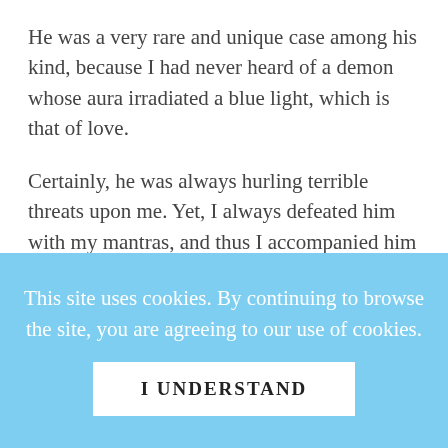He was a very rare and unique case among his kind, because I had never heard of a demon whose aura irradiated a blue light, which is that of love.
Certainly, he was always hurling terrible threats upon me. Yet, I always defeated him with my mantras, and thus I accompanied him into his caverns within the Astral plane. I reached even to the point of taking part in his feasts, pretending to be a black magician, and even his comrade. This
This site uses cookies. By continuing to browse the site, you are agreeing to our use of cookies.
I UNDERSTAND